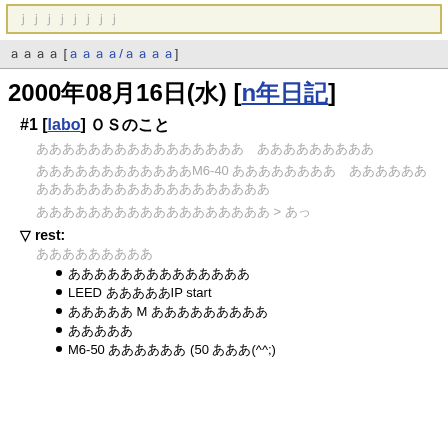ｊｊｊｊｊｊｊｊ
ａａａａ [ａａａａ/ａａａａ]
2000年08月16日(水) [n年日記]
#1 [labo] ＯＳのこと
ああああああああああああああああ　あああああああああ
ああああああああああああM6-40 ああああああああ　ああああああああああああああああああああああああ
ああああああああああああああああああ > あっ
▽ rest:
あああああああああ
ああああああああああああああ
LEED あああああIP start
あああああ M あああああああああ
あああああ
M6-50 ああああああ (50 あああ(^^;)